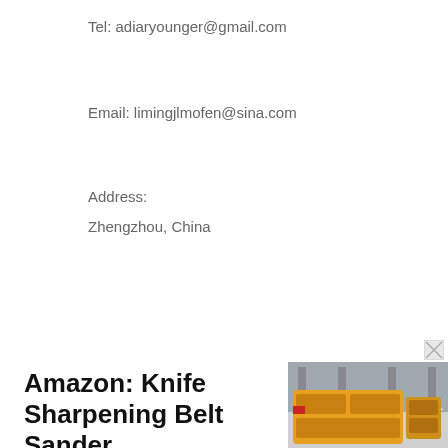Tel: adiaryounger@gmail.com
Email: limingjlmofen@sina.com
Address:
Zhengzhou, China
Amazon: Knife Sharpening Belt Sander
[Figure (photo): Industrial yellow mining/crushing machine in a factory setting with a white arrow overlay and red markings]